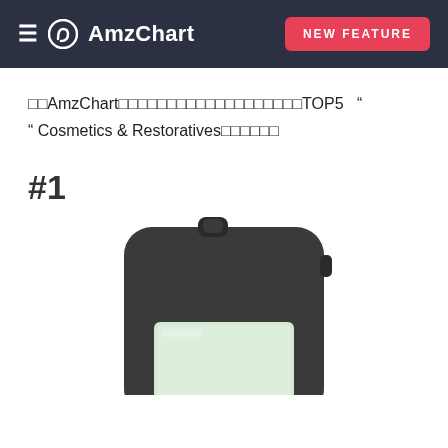≡  AmzChart   NEW FEATURE
□□AmzChart□□□□□□□□□□□□□□□□□□□□TOP5  " " Cosmetics & Restoratives□□□□□□
#1
[Figure (photo): Photo of a dark grey/black electronic device resembling a digital pedometer or counter with a small rectangular greenish LCD screen, partially visible at the bottom of the page.]